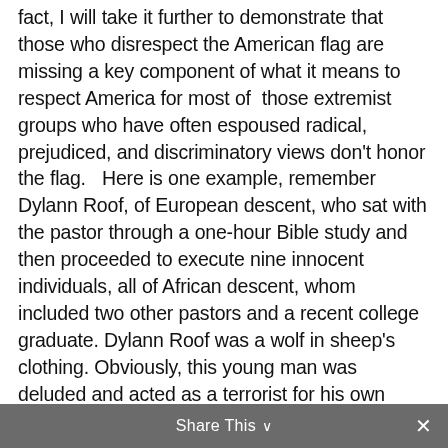fact, I will take it further to demonstrate that those who disrespect the American flag are missing a key component of what it means to respect America for most of those extremist groups who have often espoused radical, prejudiced, and discriminatory views don't honor the flag.   Here is one example, remember Dylann Roof, of European descent, who sat with the pastor through a one-hour Bible study and then proceeded to execute nine innocent individuals, all of African descent, whom included two other pastors and a recent college graduate. Dylann Roof was a wolf in sheep's clothing. Obviously, this young man was deluded and acted as a terrorist for his own twisted cause. This was purely and simply a hate crime where the shooter espoused “white supremacist” rhetoric, including clothing and videos that were “anti-black” and anti-American (defacing the flag and American values). But here is my point, Roof could be seen on social media as holding the Confederate flag and stepping on
Share This